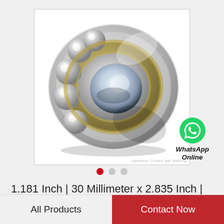[Figure (photo): Product photo of a ball bearing (angular contact bearing) with chrome steel balls visible, shown at an angle on a white background inside a bordered box. WhatsApp Online badge with green WhatsApp icon appears to the right.]
1.181 Inch | 30 Millimeter x 2.835 Inch | 72 Millimeter x 1.189 Inch | 30.2 Millimeter KOY…
All Products
Contact Now